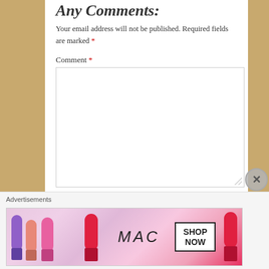Any Comments:
Your email address will not be published. Required fields are marked *
Comment *
Name *
Email *
Advertisements
[Figure (photo): MAC Cosmetics advertisement banner showing lipsticks in purple, salmon, pink, and red colors with MAC logo and a SHOP NOW button.]